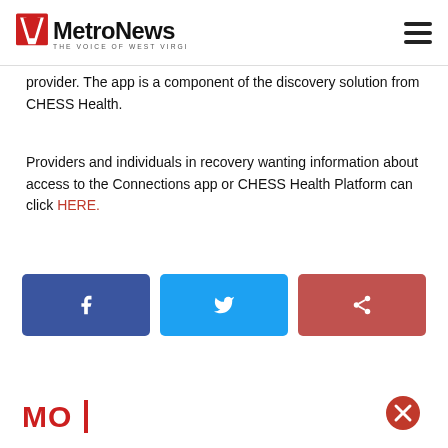MetroNews — THE VOICE OF WEST VIRGINIA
provider. The app is a component of the discovery solution from CHESS Health.
Providers and individuals in recovery wanting information about access to the Connections app or CHESS Health Platform can click HERE.
[Figure (infographic): Social sharing buttons: Facebook (blue), Twitter (light blue), Share (red/pink)]
MO